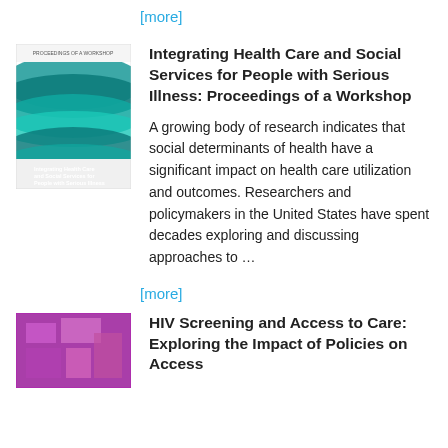[more]
[Figure (photo): Book cover: Integrating Health Care and Social Services for People with Serious Illness, teal/green wave design]
Integrating Health Care and Social Services for People with Serious Illness: Proceedings of a Workshop
A growing body of research indicates that social determinants of health have a significant impact on health care utilization and outcomes. Researchers and policymakers in the United States have spent decades exploring and discussing approaches to …
[more]
[Figure (photo): Book cover: HIV Screening and Access to Care, purple/pink abstract design]
HIV Screening and Access to Care: Exploring the Impact of Policies on Access